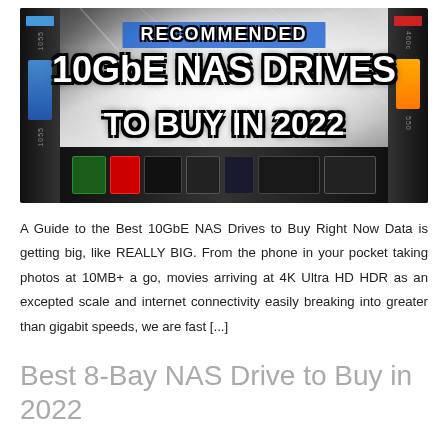[Figure (photo): Hero banner image with text overlay showing 'RECOMMENDED' in a blue box, '10GbE NAS DRIVES' in large bold white text with black stroke, and 'TO BUY IN 2022' below it. Background shows various NAS drives and storage devices.]
A Guide to the Best 10GbE NAS Drives to Buy Right Now Data is getting big, like REALLY BIG. From the phone in your pocket taking photos at 10MB+ a go, movies arriving at 4K Ultra HD HDR as an excepted scale and internet connectivity easily breaking into greater than gigabit speeds, we are fast [...]
Best 8-Bay NAS Drive to Buy in 2022